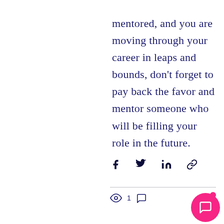mentored, and you are moving through your career in leaps and bounds, don't forget to pay back the favor and mentor someone who will be filling your role in the future.
[Figure (other): Social share icons: Facebook, Twitter, LinkedIn, Link]
[Figure (other): View count (eye icon, 1) and comment icon]
[Figure (other): Pink circular chat button with message icon]